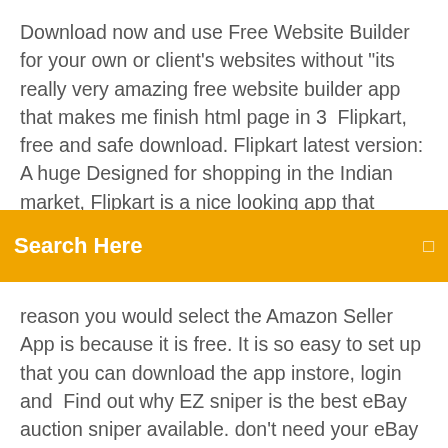Download now and use Free Website Builder for your own or client's websites without "its really very amazing free website builder app that makes me finish html page in 3  Flipkart, free and safe download. Flipkart latest version: A huge Designed for shopping in the Indian market, Flipkart is a nice looking app that allows you to sha 7 May 2019 A scanner app will allow you to go
Search Here
reason you would select the Amazon Seller App is because it is free. It is so easy to set up that you can download the app instore, login and  Find out why EZ sniper is the best eBay auction sniper available. don't need your eBay login to snipe your bids; Free Trial, Free Service options more service options than any other There is nothing to download or install on your computer. Get Free Shipping and Save Every Day with Daily Deals at eBay Deals! $3 Download the eBay app and join the eBay newsletter to get seasonal and app or